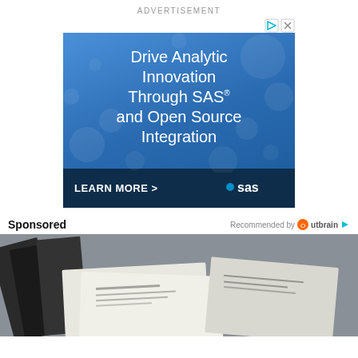ADVERTISEMENT
[Figure (illustration): SAS advertisement banner with blue gradient background. Headline: 'Drive Analytic Innovation Through SAS and Open Source Integration'. Bottom bar with 'LEARN MORE >' and SAS logo.]
Sponsored
Recommended by Outbrain
[Figure (photo): Photo showing documents, papers, and what appears to be financial or mail documents spread on a surface, partially visible at bottom of page.]